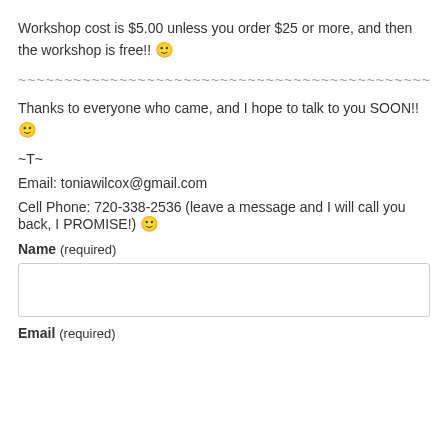Workshop cost is $5.00 unless you order $25 or more, and then the workshop is free!! 🙂
~~~~~~~~~~~~~~~~~~~~~~~~~~~~~~~~~~~~~~~~~~~~~~~~~~~~~~~~~~~~~~~~
Thanks to everyone who came, and I hope to talk to you SOON!! 🙂
~T~
Email: toniawilcox@gmail.com
Cell Phone: 720-338-2536 (leave a message and I will call you back, I PROMISE!) 🙂
Name (required)
Email (required)